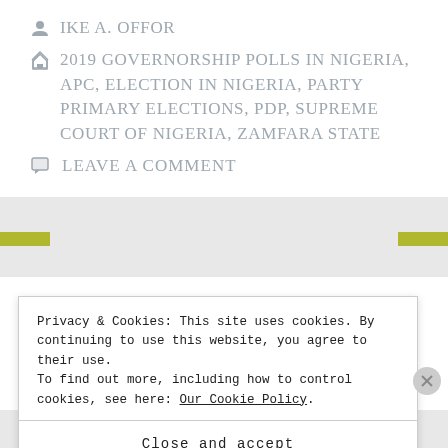IKE A. OFFOR
2019 GOVERNORSHIP POLLS IN NIGERIA, APC, ELECTION IN NIGERIA, PARTY PRIMARY ELECTIONS, PDP, SUPREME COURT OF NIGERIA, ZAMFARA STATE
LEAVE A COMMENT
Privacy & Cookies: This site uses cookies. By continuing to use this website, you agree to their use.
To find out more, including how to control cookies, see here: Our Cookie Policy
Close and accept